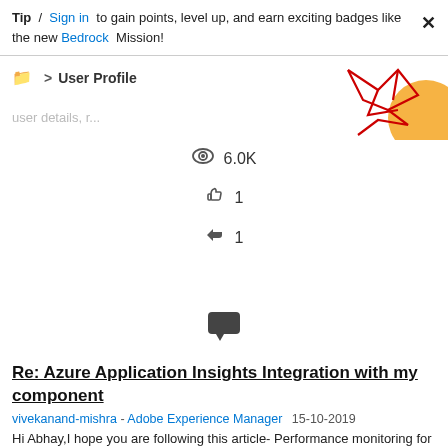Tip / Sign in to gain points, level up, and earn exciting badges like the new Bedrock Mission!
User Profile
[Figure (illustration): Decorative geometric red line art with orange circle shape in top right corner]
user details, r...
👁 6.0K
👍 1
↩ 1
[Figure (illustration): Dark gray speech bubble / chat icon]
Re: Azure Application Insights Integration with my component
vivekanand-mishra - Adobe Experience Manager  15-10-2019
Hi Abhay,I hope you are following this article- Performance monitoring for Java web apps in Azure Application Insights |